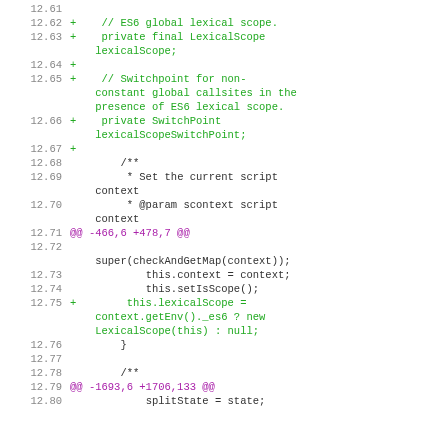[Figure (screenshot): Code diff viewer showing lines 12.61 through 12.80 of a source file. Green lines are additions (+), purple lines are hunk headers (@@), and black lines are context. The code relates to ES6 lexical scope, SwitchPoint, and script context in what appears to be a JavaScript engine implementation.]